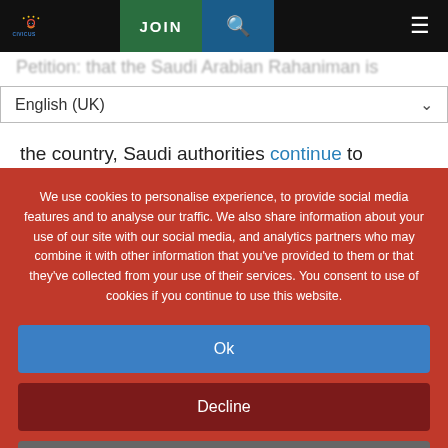CIVICUS | JOIN | [search] | [menu]
English (UK)
the country, Saudi authorities continue to persecute women activists. Since the crackdown began in May 2018, at least 22 women human rights defenders
We use cookies to personalise experience, to provide social media features and to analyse our traffic. We also share information about your use of our site with our social media, and analytics partners who may combine it with other information that you've provided to them or that they've collected from your use of their services. You consent to use of cookies if you continue to use this website.
Ok
Decline
Settings